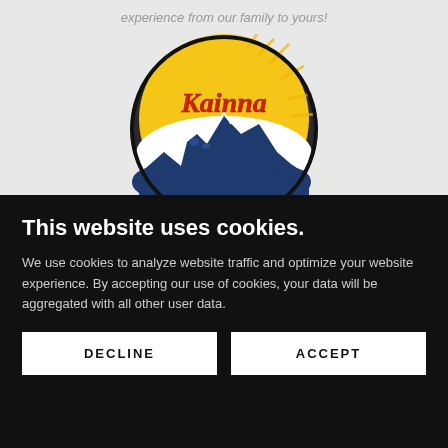experience from our family to yours!
[Figure (logo): Kainna farm logo: circular logo with yellow sunburst background, red cursive text 'Kainna', blue silhouette of farm buildings and mountains]
This website uses cookies.
We use cookies to analyze website traffic and optimize your website experience. By accepting our use of cookies, your data will be aggregated with all other user data.
DECLINE
ACCEPT